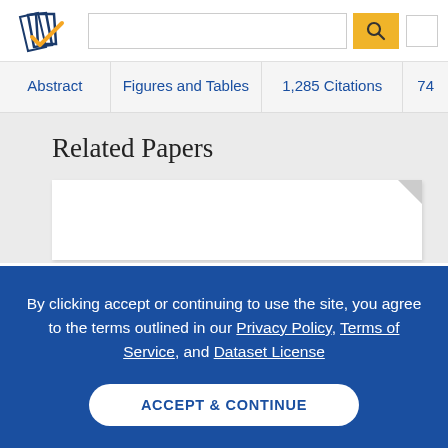[Figure (logo): Semantic Scholar logo - stylized book pages with blue and gold checkmark]
Abstract | Figures and Tables | 1,285 Citations | 74...
Related Papers
[Figure (illustration): White paper/document card with folded top-right corner]
By clicking accept or continuing to use the site, you agree to the terms outlined in our Privacy Policy, Terms of Service, and Dataset License
ACCEPT & CONTINUE